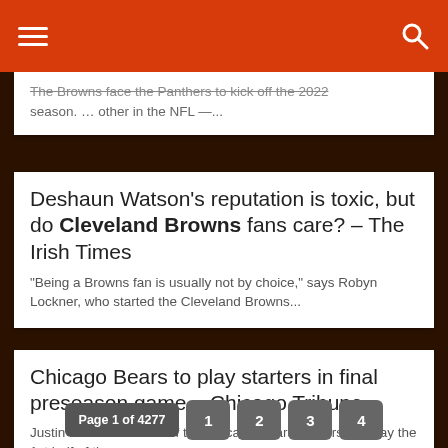Navigation header with hamburger menu and search icon
The Browns face the Panthers to kick off the 2022 season. … other in the NFL —...
Deshaun Watson's reputation is toxic, but do Cleveland Browns fans care? – The Irish Times
“Being a Browns fan is usually not by choice,” says Robyn Lockner, who started the Cleveland Browns...
Chicago Bears to play starters in final preseason game – Chicago Tribune
Justin Fields and most of the Chicago Bears starters will play the 1st half of the preseason...
Page 1 of 4277  1  2  3  4